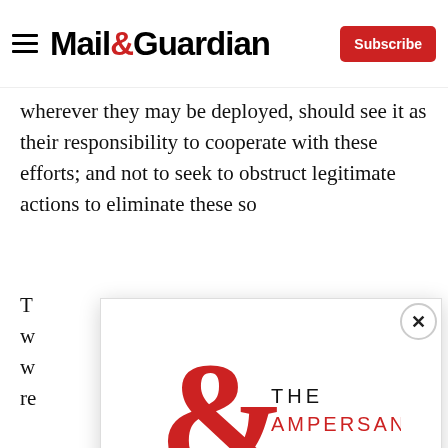Mail&Guardian | Subscribe
wherever they may be deployed, should see it as their responsibility to cooperate with these efforts; and not to seek to obstruct legitimate actions to eliminate these so
T w w re
[Figure (logo): The Ampersand logo — a large red ampersand symbol with the text THE AMPERSAND beside it]
Stay informed. Every weekday.
E-mail Address
Signup now